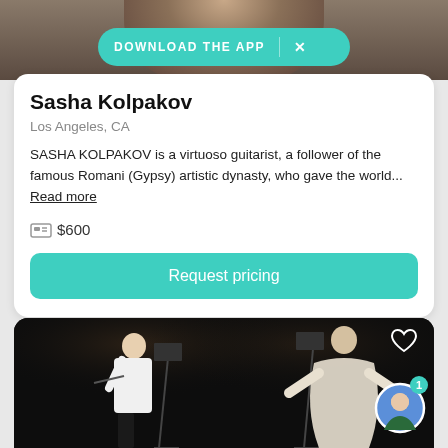[Figure (screenshot): Top portion of a person's photo, blurred/cropped background]
DOWNLOAD THE APP
Sasha Kolpakov
Los Angeles, CA
SASHA KOLPAKOV is a virtuoso guitarist, a follower of the famous Romani (Gypsy) artistic dynasty, who gave the world... Read more
$600
Request pricing
[Figure (photo): Two performers on a dark stage — a violinist on the left and a performer in flowing white garment on the right, with music stands visible]